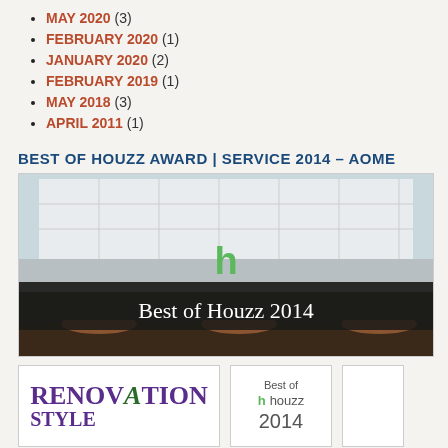MAY 2020 (3)
FEBRUARY 2020 (1)
JANUARY 2020 (2)
FEBRUARY 2019 (1)
MAY 2018 (3)
APRIL 2011 (1)
BEST OF HOUZZ AWARD | SERVICE 2014 – AOME
[Figure (photo): Kitchen photo with Houzz logo overlay and 'Best of Houzz 2014' banner]
[Figure (photo): Renovation Style magazine cover thumbnail]
[Figure (logo): Best of Houzz 2014 badge]